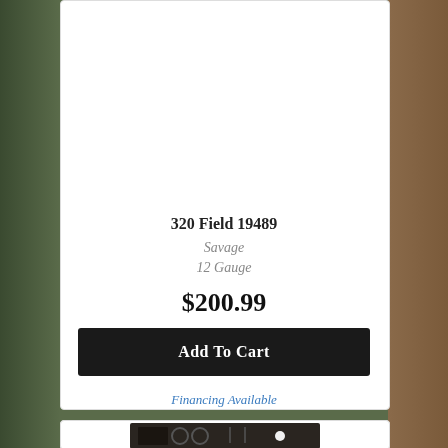320 Field 19489
Savage
12 Gauge
$200.99
Add To Cart
Financing Available
[Figure (photo): Partial view of a firearm accessory or cleaning kit in a black case, visible at bottom of page]